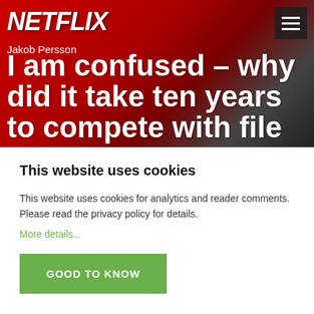[Figure (screenshot): Netflix website header with red background showing Netflix logo and navigation hamburger menu icon]
I am confused – why did it take ten years to compete with file
Jakob Persson
This website uses cookies
This website uses cookies for analytics and reader comments. Please read the privacy policy for details.
More details...
GOOD TO KNOW